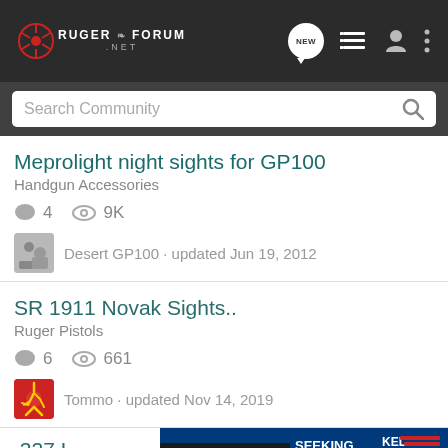RUGER FORUM .NET
Search Community
Meprolight night sights for GP100
Handgun Accessories
4 replies · 9K views
Desert GP100 · updated Jun 19, 2012
SR 1911 Novak Sights..
Ruger Pistols
6 replies · 661 views
Tommo · updated Nov 14, 2019
[Figure (photo): Kel-Tec CP33 pistol advertisement: SEEKING LONG RANGE RELATIONSHIP THE CP33 PISTOL]
.327 L